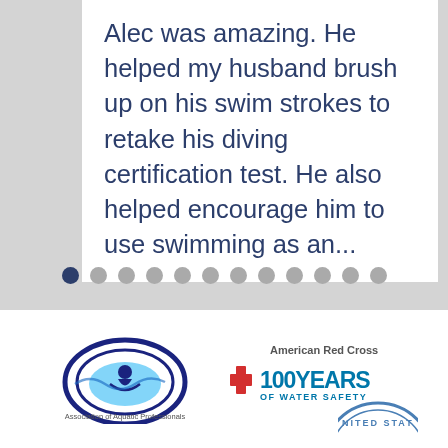Alec was amazing. He helped my husband brush up on his swim strokes to retake his diving certification test. He also helped encourage him to use swimming as an...
[Figure (other): Carousel navigation dots: 12 dots total, first dot is dark navy (active), remaining 11 are light gray]
[Figure (logo): Association of Aquatic Professionals logo - circular blue oval emblem with swimmer figure, text below reads 'Association of Aquatic Professionals']
[Figure (logo): American Red Cross 100 Years of Water Safety logo - text 'American Red Cross' above, red cross icon with '100YEARS OF WATER SAFETY' in blue teal text]
[Figure (logo): Partially visible circular seal/logo at bottom right, appears to be United States government or organizational seal, only top portion visible]